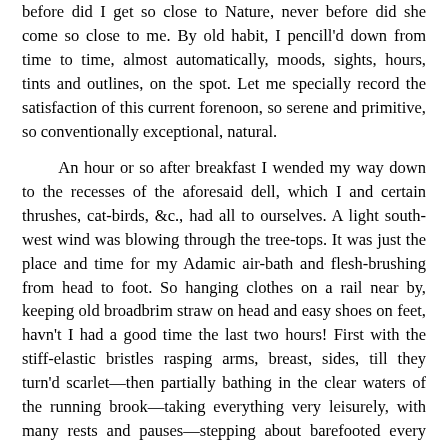before did I get so close to Nature, never before did she come so close to me. By old habit, I pencill'd down from time to time, almost automatically, moods, sights, hours, tints and outlines, on the spot. Let me specially record the satisfaction of this current forenoon, so serene and primitive, so conventionally exceptional, natural.

An hour or so after breakfast I wended my way down to the recesses of the aforesaid dell, which I and certain thrushes, cat-birds, &c., had all to ourselves. A light south-west wind was blowing through the tree-tops. It was just the place and time for my Adamic air-bath and flesh-brushing from head to foot. So hanging clothes on a rail near by, keeping old broadbrim straw on head and easy shoes on feet, havn't I had a good time the last two hours! First with the stiff-elastic bristles rasping arms, breast, sides, till they turn'd scarlet—then partially bathing in the clear waters of the running brook—taking everything very leisurely, with many rests and pauses—stepping about barefooted every few minutes now and then in some neighboring black ooze, for unctuous mud-bath to my feet—a brief second and third rinsing in the crystal running waters—rubbing with the fragrant towel—slow negligent promenades on the turf up